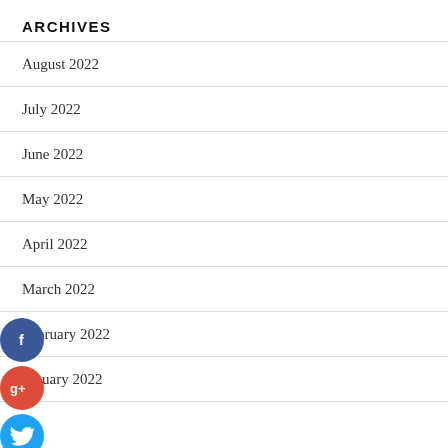ARCHIVES
August 2022
July 2022
June 2022
May 2022
April 2022
March 2022
February 2022
January 2022
[Figure (infographic): Social share buttons: Facebook (blue circle with f), Google+ (red circle with g+), Twitter (light blue circle with bird icon), Add/More (dark blue circle with + icon)]